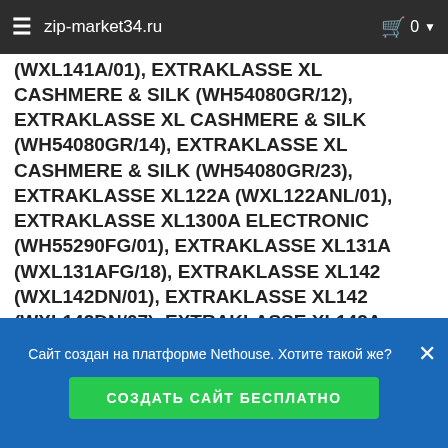zip-market34.ru
(WXL140DN/01), EXTRAKLASSE XL 141 (WXL141DN/08), EXTRAKLASSE XL 141A (WXL141A/01), EXTRAKLASSE XL CASHMERE & SILK (WH54080GR/12), EXTRAKLASSE XL CASHMERE & SILK (WH54080GR/14), EXTRAKLASSE XL CASHMERE & SILK (WH54080GR/23), EXTRAKLASSE XL122A (WXL122ANL/01), EXTRAKLASSE XL1300A ELECTRONIC (WH55290FG/01), EXTRAKLASSE XL131A (WXL131AFG/18), EXTRAKLASSE XL142 (WXL142DN/01), EXTRAKLASSE XL142 (WXL142DN/07), EXTRAKLASSE XL142A (WXL142ANL/01), EXTRAKLASSE XL142A (WXL142ANL/07), EXTRAKLASSE XL900 (WH53660EE/13), EXTRAKLASSE XLM 100 A
Сайт создан на платформе Nethouse. Хотите такой же?
СОЗДАТЬ САЙТ БЕСПЛАТНО